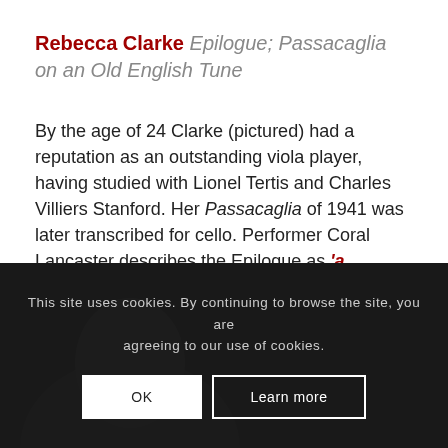Rebecca Clarke Epilogue; Passacaglia on an Old English Tune
By the age of 24 Clarke (pictured) had a reputation as an outstanding viola player, having studied with Lionel Tertis and Charles Villiers Stanford. Her Passacaglia of 1941 was later transcribed for cello. Performer Coral Lancaster describes the Epilogue as 'a soulful, brooding work'.
[Figure (photo): Dark photograph partially visible behind cookie consent banner, appearing to show a person]
This site uses cookies. By continuing to browse the site, you are agreeing to our use of cookies.